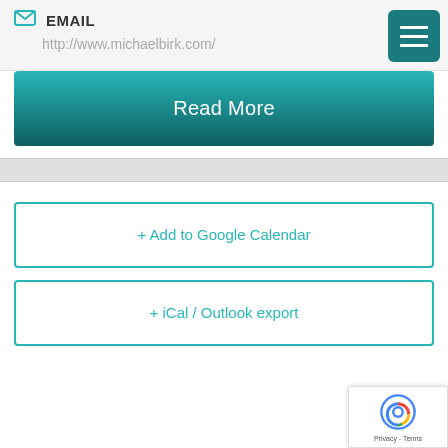EMAIL
http://www.michaelbirk.com/
Read More
+ Add to Google Calendar
+ iCal / Outlook export
[Figure (logo): reCAPTCHA badge with Google logo and Privacy/Terms links]